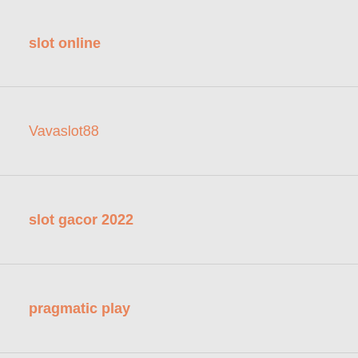slot online
Vavaslot88
slot gacor 2022
pragmatic play